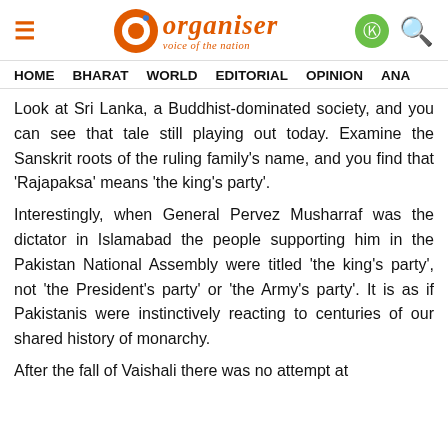Organiser — voice of the nation
HOME   BHARAT   WORLD   EDITORIAL   OPINION   ANA
Look at Sri Lanka, a Buddhist-dominated society, and you can see that tale still playing out today. Examine the Sanskrit roots of the ruling family's name, and you find that 'Rajapaksa' means 'the king's party'.
Interestingly, when General Pervez Musharraf was the dictator in Islamabad the people supporting him in the Pakistan National Assembly were titled 'the king's party', not 'the President's party' or 'the Army's party'. It is as if Pakistanis were instinctively reacting to centuries of our shared history of monarchy.
After the fall of Vaishali there was no attempt at